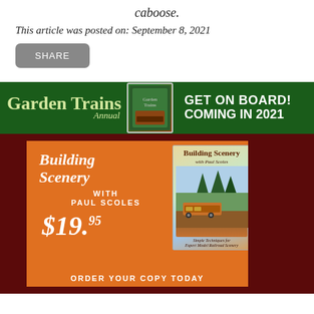caboose.
This article was posted on: September 8, 2021
SHARE
[Figure (illustration): Garden Trains Annual advertisement banner — dark green background with 'Garden Trains Annual' in light green serif font, a small magazine cover image, and bold white text 'GET ON BOARD! COMING IN 2021']
[Figure (illustration): Book advertisement on orange background against dark red backdrop. Left side shows 'Building Scenery WITH PAUL SCOLES $19.95' in white text. Right side shows book cover image of 'Building Scenery with Paul Scoles' featuring a train and scenery. Bottom text reads 'ORDER YOUR COPY TODAY']